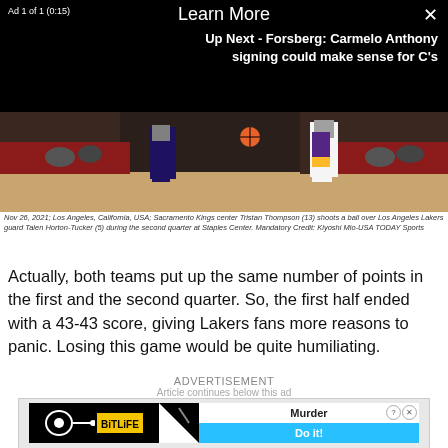Ad 1 of 1 (0:15)  Learn More  ×  Up Next - Forsberg: Carmelo Anthony signing could make sense for C's
[Figure (photo): Basketball game photo showing players in action at Staples Center, Sacramento Kings vs Los Angeles Lakers]
Nov 26, 2021; Los Angeles, California, USA; Sacramento Kings center Tristan Thompson (13) shoots a ball over Los Angeles Lakers guard Talen Horton-Tucker (5) during the second quarter at Staples Center. Mandatory Credit: Kiyoshi Mio-USA TODAY Sports
Actually, both teams put up the same number of points in the first and the second quarter. So, the first half ended with a 43-43 score, giving Lakers fans more reasons to panic. Losing this game would be quite humiliating.
ADVERTISEMENT
Article continues below this ad
[Figure (screenshot): BitLife game advertisement banner with Murder Do it! text]